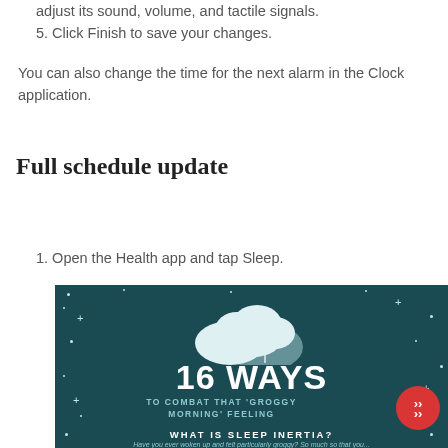adjust its sound, volume, and tactile signals.
5. Click Finish to save your changes.
You can also change the time for the next alarm in the Clock application.
Full schedule update
1. Open the Health app and tap Sleep.
[Figure (infographic): Dark teal background infographic titled '16 WAYS TO COMBAT THAT GROGGY MORNING FEELING' with a cloud illustration, stars, and subtitle 'WHAT IS SLEEP INERTIA?' A red circle with double chevrons appears in the bottom right.]